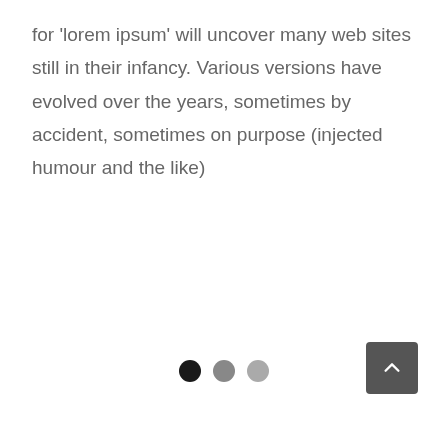for 'lorem ipsum' will uncover many web sites still in their infancy. Various versions have evolved over the years, sometimes by accident, sometimes on purpose (injected humour and the like)
[Figure (other): Three pagination dots (one black, two gray) and a dark gray back-to-top button with a chevron/arrow icon in the bottom area of the page]